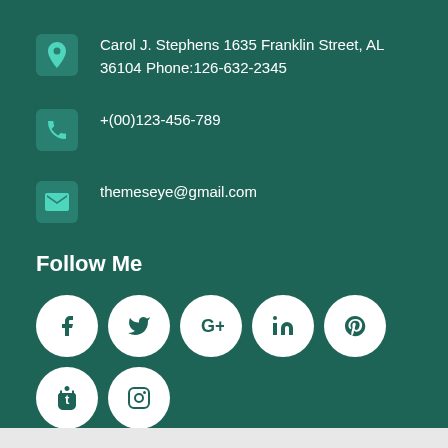Carol J. Stephens 1635 Franklin Street, AL 36104 Phone:126-632-2345
+(00)123-456-789
themeseye@gmail.com
Follow Me
[Figure (illustration): Row of social media icons (Facebook, Twitter, Google+, LinkedIn, Pinterest, Tumblr, Instagram, YouTube) as white circles on teal background]
Message Me